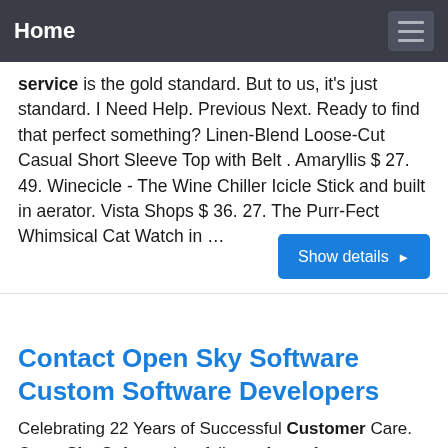Home
service is the gold standard. But to us, it's just standard. I Need Help. Previous Next. Ready to find that perfect something? Linen-Blend Loose-Cut Casual Short Sleeve Top with Belt . Amaryllis $ 27. 49. Winecicle - The Wine Chiller Icicle Stick and built in aerator. Vista Shops $ 36. 27. The Purr-Fect Whimsical Cat Watch in …
Contact Open Sky Software Custom Software Developers
Celebrating 22 Years of Successful Customer Care. Open Sky Software is a full-service software engineering firm with experience in a variety of industries, including finance, education, workflow automation, technical engineering, and